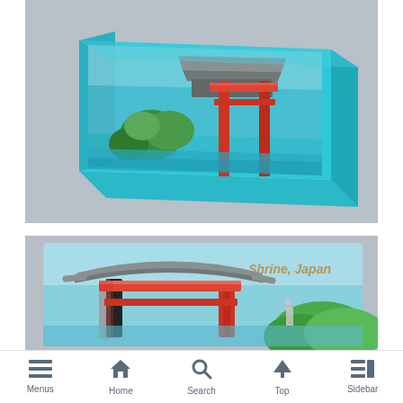[Figure (photo): Side view of a Japanese torii gate souvenir magnet. The magnet is a 3D resin block with turquoise/blue color showing a red torii gate with green trees and a traditional rooftop structure on a raised platform, photographed against a gray background.]
[Figure (photo): Front/face view of a Japanese torii gate souvenir magnet showing 'Shrine, Japan' text in the upper right. The magnet displays a red torii gate with a curved gray roof, green hills, and a small pagoda in the background on a light blue background.]
Menus  Home  Search  Top  Sidebar